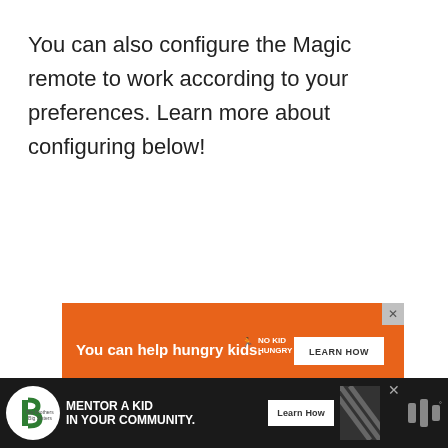You can also configure the Magic remote to work according to your preferences. Learn more about configuring below!
[Figure (screenshot): Orange advertisement banner: 'You can help hungry kids. No Kid Hungry. Learn How' with a close button (X) in the top right corner.]
[Figure (screenshot): Side UI elements: blue heart/like button, count of 3, white share button with social share icon.]
[Figure (screenshot): Bottom black advertisement bar: Big Brothers Big Sisters logo, 'Mentor a Kid In Your Community.' text, 'Learn How' button, decorative pattern, close button, and watermark logo.]